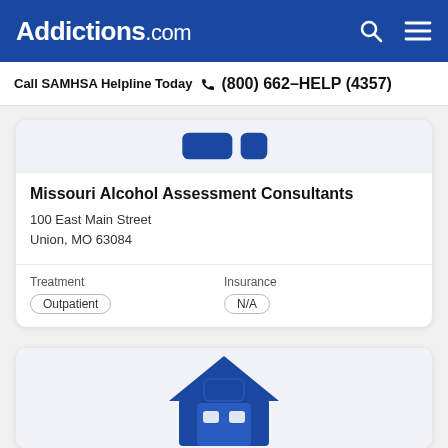Addictions.com
Call SAMHSA Helpline Today  (800) 662-HELP (4357)
[Figure (illustration): Partial view of a building/facility icon in blue inside a light blue card area]
Missouri Alcohol Assessment Consultants
100 East Main Street
Union, MO 63084
Treatment
Outpatient
Insurance
N/A
[Figure (illustration): Partial view of a house/building icon in blue at the bottom of the page]